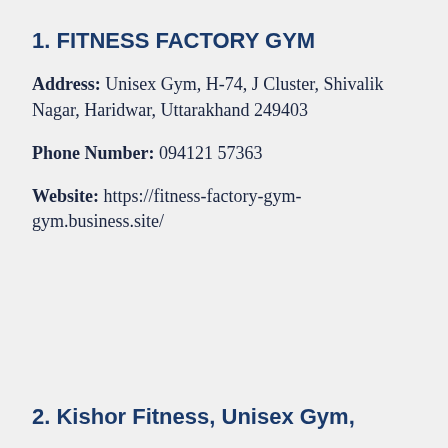1. FITNESS FACTORY GYM
Address: Unisex Gym, H-74, J Cluster, Shivalik Nagar, Haridwar, Uttarakhand 249403
Phone Number: 094121 57363
Website: https://fitness-factory-gym-gym.business.site/
2. Kishor Fitness, Unisex Gym,